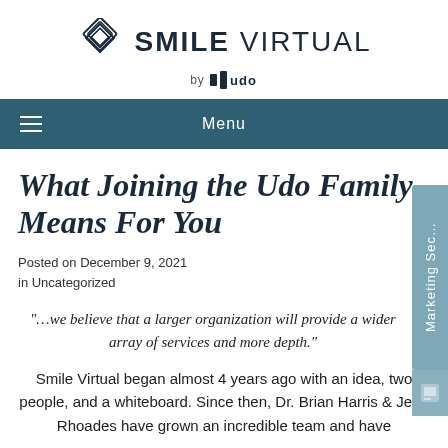[Figure (logo): Smile Virtual logo with diamond geometric icon and 'SMILE VIRTUAL by udo' text]
Menu
What Joining the Udo Family Means For You
Posted on December 9, 2021 in Uncategorized
"…we believe that a larger organization will provide a wider array of services and more depth."
Smile Virtual began almost 4 years ago with an idea, two people, and a whiteboard. Since then, Dr. Brian Harris & Jenn Rhoades have grown an incredible team and have